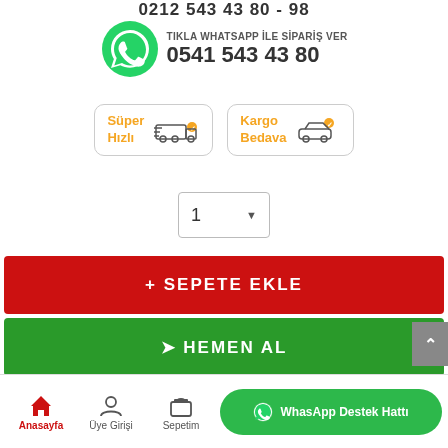0212 543 43 80 - 98
[Figure (infographic): WhatsApp icon with text: TIKLA WHATSAPP İLE SİPARİŞ VER and phone number 0541 543 43 80]
[Figure (infographic): Two badge buttons: Süper Hızlı (with delivery truck icon) and Kargo Bedava (with car icon)]
1
+ SEPETE EKLE
➤ HEMEN AL
Anasayfa | Üye Girişi | Sepetim | WhasApp Destek Hattı